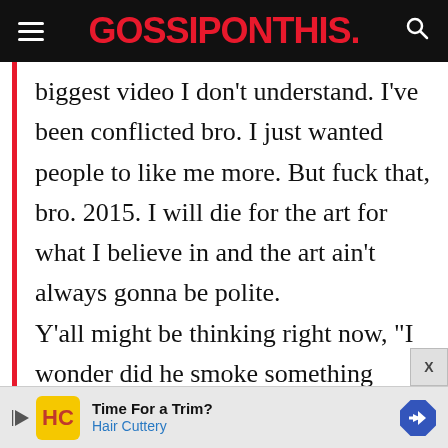GOSSIPONTHIS.
biggest video I don’t understand. I’ve been conflicted bro. I just wanted people to like me more. But fuck that, bro. 2015. I will die for the art for what I believe in and the art ain’t always gonna be polite.

Y’all might be thinking right now, “I wonder did he smoke something before he came out here?” And the answer is yes, I
[Figure (other): Advertisement banner: Time For a Trim? Hair Cuttery with yellow HC logo and blue arrow navigation icon]